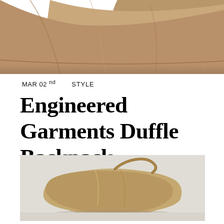[Figure (photo): Close-up photo of the bottom portion of a tan/khaki colored duffle backpack against a white background, showing the bag's fabric texture and stitching.]
MAR 02nd    STYLE
Engineered Garments Duffle Backpack
[Figure (photo): Photo of a tan/beige duffle backpack laid on its side against a light gray background, showing the bag's silhouette and handle.]